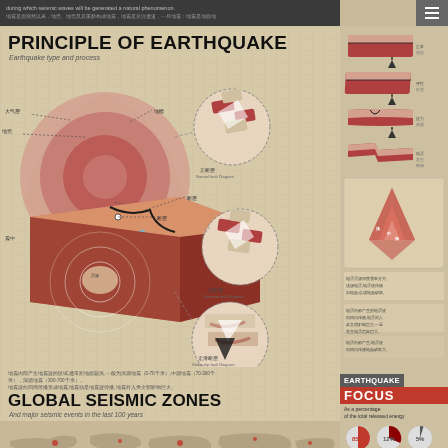during which seismic waves will be generated a natural phenomenon. [Chinese text]
PRINCIPLE OF EARTHQUAKE
Earthquake type and process
[Figure (infographic): Cross-section diagram showing earthquake principles: Earth's interior layers (crust, mantle), fault lines, epicenter, hypocenter, seismic waves radiating outward. Three detail circles show fault movement types (Normal, Reverse, Strike-slip). Right panel shows step-by-step fault movement sequence with arrows. Lower right shows a cone diagram of earthquake focus depths with Chinese labels. Small text annotations label each part.]
[Chinese footnote text about earthquake types and processes]
GLOBAL SEISMIC ZONES
And major seismic events in the last 100 years
[Figure (map): Partial world map showing global seismic zones with red markers for major seismic events]
EARTHQUAKE FOCUS
As a percentage of the total released energy
85%   12%   5%